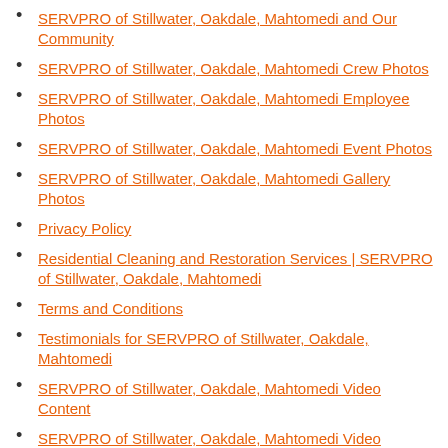SERVPRO of Stillwater, Oakdale, Mahtomedi and Our Community
SERVPRO of Stillwater, Oakdale, Mahtomedi Crew Photos
SERVPRO of Stillwater, Oakdale, Mahtomedi Employee Photos
SERVPRO of Stillwater, Oakdale, Mahtomedi Event Photos
SERVPRO of Stillwater, Oakdale, Mahtomedi Gallery Photos
Privacy Policy
Residential Cleaning and Restoration Services | SERVPRO of Stillwater, Oakdale, Mahtomedi
Terms and Conditions
Testimonials for SERVPRO of Stillwater, Oakdale, Mahtomedi
SERVPRO of Stillwater, Oakdale, Mahtomedi Video Content
SERVPRO of Stillwater, Oakdale, Mahtomedi Video Content
| SERVPRO of Stillwater, Oakdale, Mahtomedi Video Content
Advanced Restoration Technology |